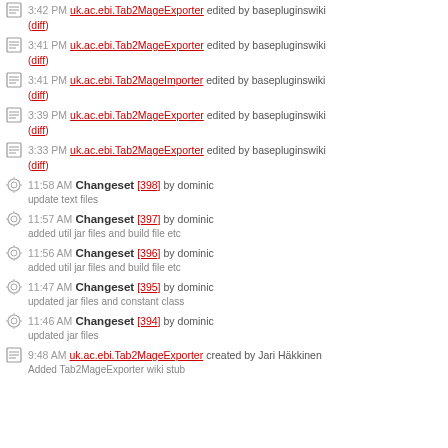3:42 PM uk.ac.ebi.Tab2MageExporter edited by basepluginswiki (diff)
3:41 PM uk.ac.ebi.Tab2MageExporter edited by basepluginswiki (diff)
3:41 PM uk.ac.ebi.Tab2MageImporter edited by basepluginswiki (diff)
3:39 PM uk.ac.ebi.Tab2MageExporter edited by basepluginswiki (diff)
3:33 PM uk.ac.ebi.Tab2MageExporter edited by basepluginswiki (diff)
11:58 AM Changeset [398] by dominic — update text files
11:57 AM Changeset [397] by dominic — added util jar files and build file etc
11:56 AM Changeset [396] by dominic — added util jar files and build file etc
11:47 AM Changeset [395] by dominic — updated jar files and constant class
11:46 AM Changeset [394] by dominic — updated jar files
9:48 AM uk.ac.ebi.Tab2MageExporter created by Jari Häkkinen — Added Tab2MageExporter wiki stub